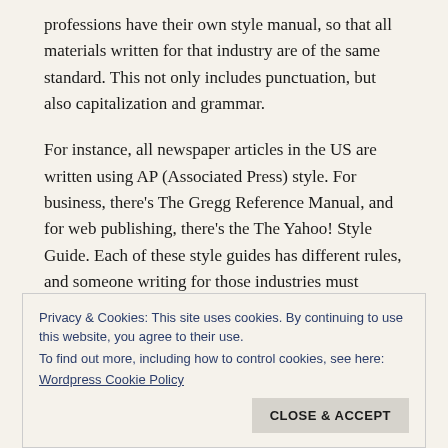professions have their own style manual, so that all materials written for that industry are of the same standard. This not only includes punctuation, but also capitalization and grammar.
For instance, all newspaper articles in the US are written using AP (Associated Press) style. For business, there’s The Gregg Reference Manual, and for web publishing, there’s the The Yahoo! Style Guide. Each of these style guides has different rules, and someone writing for those industries must follow those rules.
Privacy & Cookies: This site uses cookies. By continuing to use this website, you agree to their use.
To find out more, including how to control cookies, see here:
Wordpress Cookie Policy
CLOSE & ACCEPT